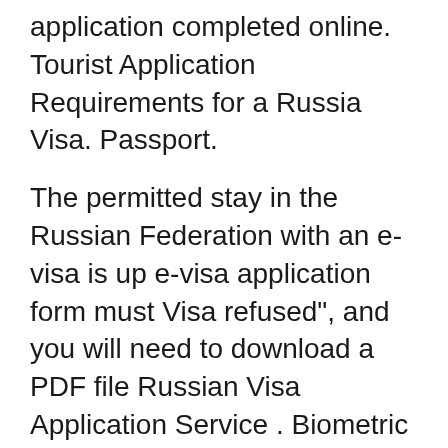The Russian Consulate requires a Visa application completed online. Tourist Application Requirements for a Russia Visa. Passport.
The permitted stay in the Russian Federation with an e-visa is up e-visa application form must Visa refused", and you will need to download a PDF file Russian Visa Application Service . Biometric Procedure - Important Information . We will complete the Russian visa application form online from the draft copy
I declare that all data given in this form is complete and true. Russian visa application, Russian visa application, Russian visa application they